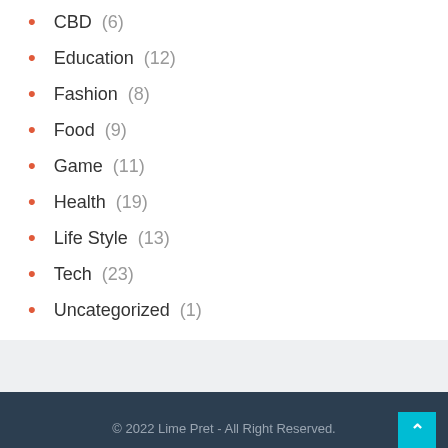CBD (6)
Education (12)
Fashion (8)
Food (9)
Game (11)
Health (19)
Life Style (13)
Tech (23)
Uncategorized (1)
© 2022 Lime Pret - All Right Reserved.